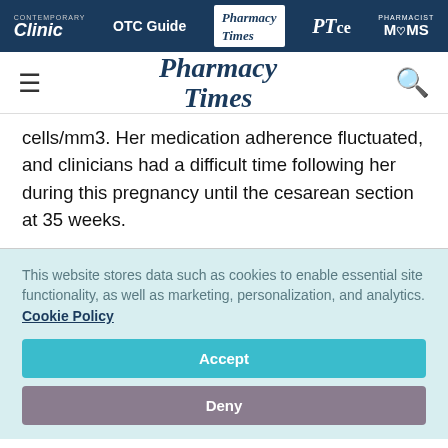Clinic | OTC Guide | Pharmacy Times | PTce | Pharmacist MOMS
[Figure (logo): Pharmacy Times logo with hamburger menu and search icon]
cells/mm3. Her medication adherence fluctuated, and clinicians had a difficult time following her during this pregnancy until the cesarean section at 35 weeks.
This website stores data such as cookies to enable essential site functionality, as well as marketing, personalization, and analytics. Cookie Policy
Accept
Deny